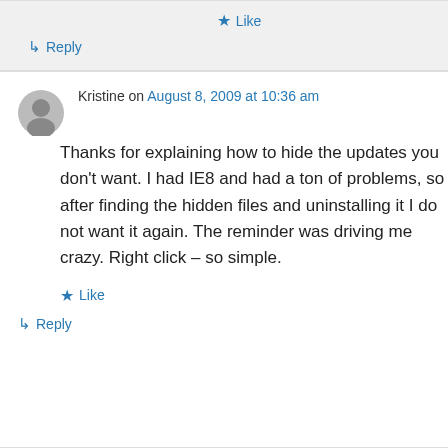★ Like
↳ Reply
Kristine on August 8, 2009 at 10:36 am
Thanks for explaining how to hide the updates you don't want. I had IE8 and had a ton of problems, so after finding the hidden files and uninstalling it I do not want it again. The reminder was driving me crazy. Right click – so simple.
★ Like
↳ Reply